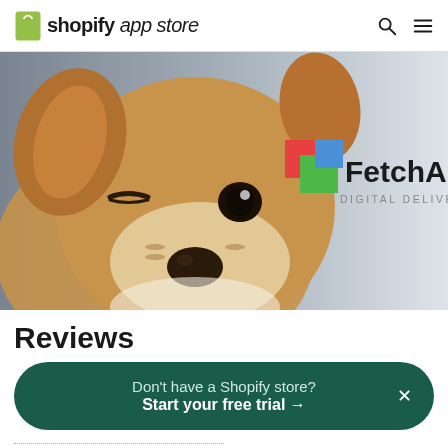shopify app store
[Figure (screenshot): FetchApp promotional banner showing a winking Chihuahua dog on the left and the FetchApp logo with text 'DIGITAL DELIVERY FREEDOM' on the right against a gray gradient background]
Reviews
Don't have a Shopify store? Start your free trial →